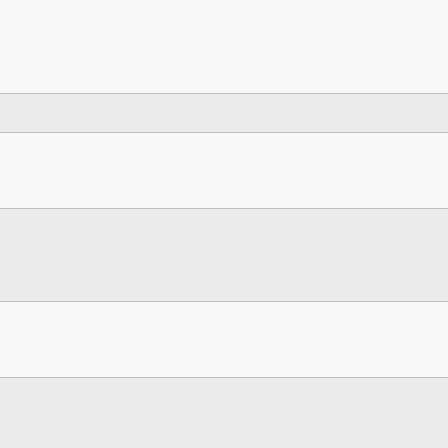| Date | Speaker | Title/Topic |
| --- | --- | --- |
|  |  | opt... and... opt... gen... |
| 07.01.10 | Dieter Breitschwerdt (Berlin) | Ant... |
| 14.01.10 | Alois Würger (Bordeaux) | The... tra... coll... |
| 21.01.10 | Michele Campisi (Augsburg) | Flu... the... ope... sys... |
| 28.01.10 | Fatihcan Atay (Leipzig) | Osc... und... del... |
| 04.02.10 | Svetlana Gurevich (Münster | Sin... stru... thre... con... rea... diff... |
| 11.02.10 | Matthias Ballauff (Berlin) | Hyb... me... nan... and... coll... pro... app... |